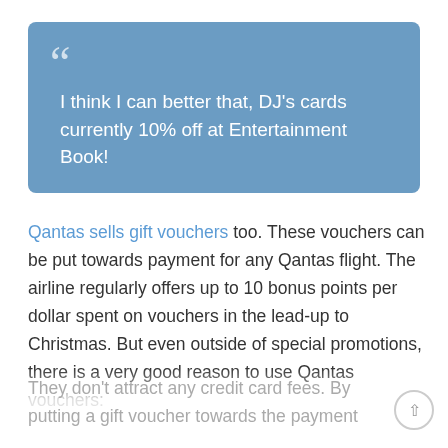I think I can better that, DJ's cards currently 10% off at Entertainment Book!
Qantas sells gift vouchers too. These vouchers can be put towards payment for any Qantas flight. The airline regularly offers up to 10 bonus points per dollar spent on vouchers in the lead-up to Christmas. But even outside of special promotions, there is a very good reason to use Qantas vouchers: They don't attract any credit card fees. By putting a gift voucher towards the payment